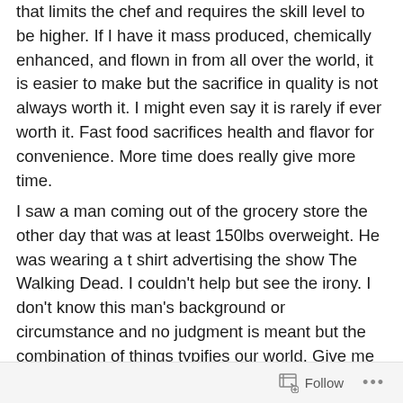that limits the chef and requires the skill level to be higher. If I have it mass produced, chemically enhanced, and flown in from all over the world, it is easier to make but the sacrifice in quality is not always worth it. I might even say it is rarely if ever worth it. Fast food sacrifices health and flavor for convenience. More time does really give more time.
I saw a man coming out of the grocery store the other day that was at least 150lbs overweight. He was wearing a t shirt advertising the show The Walking Dead. I couldn't help but see the irony. I don't know this man's background or circumstance and no judgment is meant but the combination of things typifies our world. Give me more and faster so I can have it now even if it is not better.
Follow ...